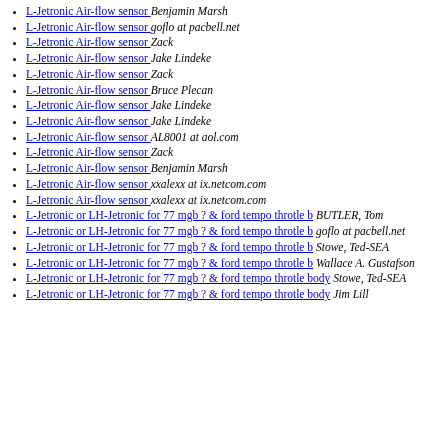L-Jetronic Air-flow sensor  Benjamin Marsh
L-Jetronic Air-flow sensor  goflo at pacbell.net
L-Jetronic Air-flow sensor  Zack
L-Jetronic Air-flow sensor  Jake Lindeke
L-Jetronic Air-flow sensor  Zack
L-Jetronic Air-flow sensor  Bruce Plecan
L-Jetronic Air-flow sensor  Jake Lindeke
L-Jetronic Air-flow sensor  Jake Lindeke
L-Jetronic Air-flow sensor  AL8001 at aol.com
L-Jetronic Air-flow sensor  Zack
L-Jetronic Air-flow sensor  Benjamin Marsh
L-Jetronic Air-flow sensor  xxalexx at ix.netcom.com
L-Jetronic Air-flow sensor  xxalexx at ix.netcom.com
L-Jetronic or LH-Jetronic for 77 mgb ? & ford tempo throtle b  BUTLER, Tom
L-Jetronic or LH-Jetronic for 77 mgb ? & ford tempo throtle b  goflo at pacbell.net
L-Jetronic or LH-Jetronic for 77 mgb ? & ford tempo throtle b  Stowe, Ted-SEA
L-Jetronic or LH-Jetronic for 77 mgb ? & ford tempo throtle b  Wallace A. Gustafson
L-Jetronic or LH-Jetronic for 77 mgb ? & ford tempo throtle body  Stowe, Ted-SEA
L-Jetronic or LH-Jetronic for 77 mgb ? & ford tempo throtle body  Jim Lill